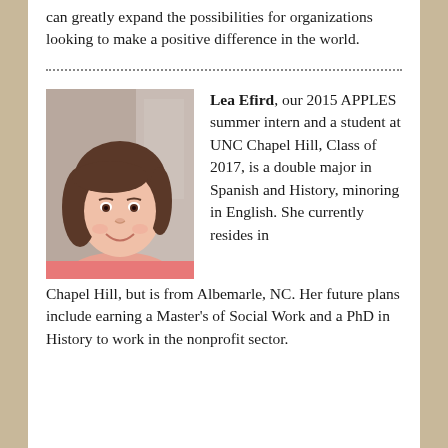can greatly expand the possibilities for organizations looking to make a positive difference in the world.
[Figure (photo): Portrait photo of Lea Efird, a young woman with brown hair, smiling, wearing a pink top.]
Lea Efird, our 2015 APPLES summer intern and a student at UNC Chapel Hill, Class of 2017, is a double major in Spanish and History, minoring in English. She currently resides in Chapel Hill, but is from Albemarle, NC. Her future plans include earning a Master's of Social Work and a PhD in History to work in the nonprofit sector.